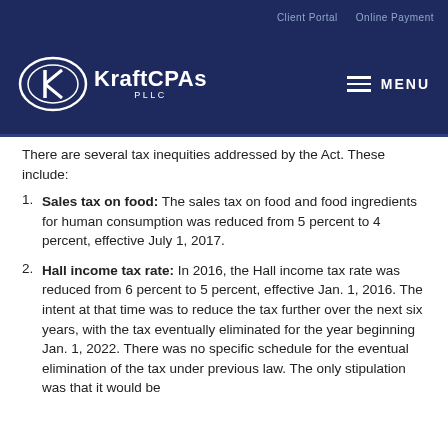Client Portal   Online Payment
[Figure (logo): KraftCPAs PLLC logo with white oval K emblem and text on dark navy background, with hamburger menu icon and MENU text on right]
There are several tax inequities addressed by the Act. These include:
Sales tax on food: The sales tax on food and food ingredients for human consumption was reduced from 5 percent to 4 percent, effective July 1, 2017.
Hall income tax rate: In 2016, the Hall income tax rate was reduced from 6 percent to 5 percent, effective Jan. 1, 2016. The intent at that time was to reduce the tax further over the next six years, with the tax eventually eliminated for the year beginning Jan. 1, 2022. There was no specific schedule for the eventual elimination of the tax under previous law. The only stipulation was that it would be